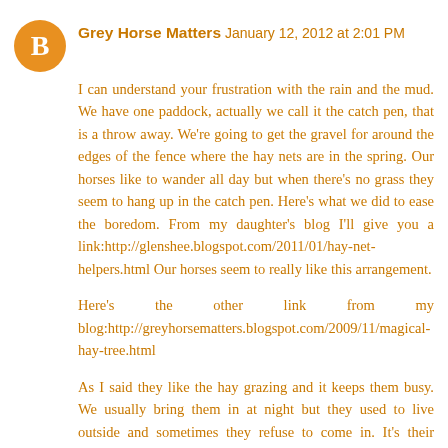Grey Horse Matters  January 12, 2012 at 2:01 PM
I can understand your frustration with the rain and the mud. We have one paddock, actually we call it the catch pen, that is a throw away. We're going to get the gravel for around the edges of the fence where the hay nets are in the spring. Our horses like to wander all day but when there's no grass they seem to hang up in the catch pen. Here's what we did to ease the boredom. From my daughter's blog I'll give you a link:http://glenshee.blogspot.com/2011/01/hay-net-helpers.html Our horses seem to really like this arrangement.
Here's the other link from my blog:http://greyhorsematters.blogspot.com/2009/11/magical-hay-tree.html
As I said they like the hay grazing and it keeps them busy. We usually bring them in at night but they used to live outside and sometimes they refuse to come in. It's their choice unless the weather's really bad, then it's our choice.